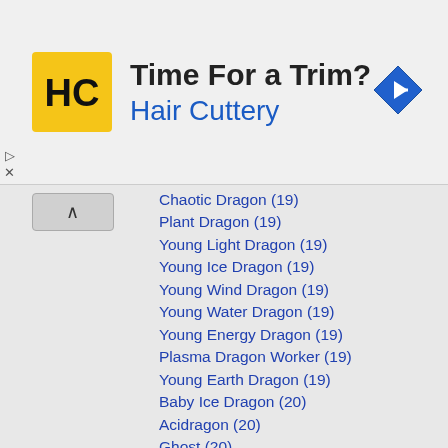[Figure (screenshot): Advertisement banner for Hair Cuttery showing logo, text 'Time For a Trim? Hair Cuttery', and a blue navigation arrow icon]
Chaotic Dragon (19) [truncated at top]
Plant Dragon (19)
Young Light Dragon (19)
Young Ice Dragon (19)
Young Wind Dragon (19)
Young Water Dragon (19)
Young Energy Dragon (19)
Plasma Dragon Worker (19)
Young Earth Dragon (19)
Baby Ice Dragon (20)
Acidragon (20)
Ghost (20)
Frost Wraith (20)
Corpsicle (20)
Undead Braken (20)
Undead Frog (20)
Revenant (20)
Afterburner (20)
Pox Corpse (20)
Mummydas (20)
Moglin Fiend (20)
Forest Demon (20)
Young Blue Wyvern (22)
Baby Energy Dragon (22)
Fundead Shredder (22)
Banshee (23)
Undead Paladin (23)
Baby Fire Dragon (24)
Undead Dragon Mutant (25)
Undead Lucizard (25)